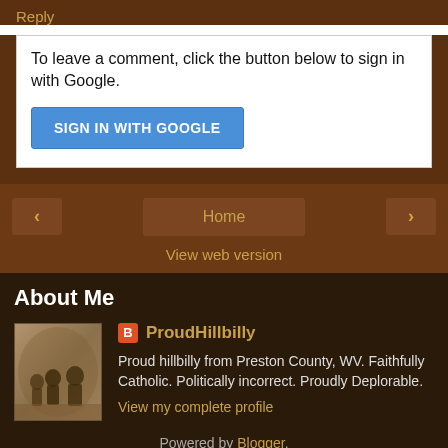Reply
To leave a comment, click the button below to sign in with Google.
SIGN IN WITH GOOGLE
Home
View web version
About Me
ProudHillbilly
Proud hillbilly from Preston County, WV. Faithfully Catholic. Politically incorrect. Proudly Deplorable.
View my complete profile
Powered by Blogger.